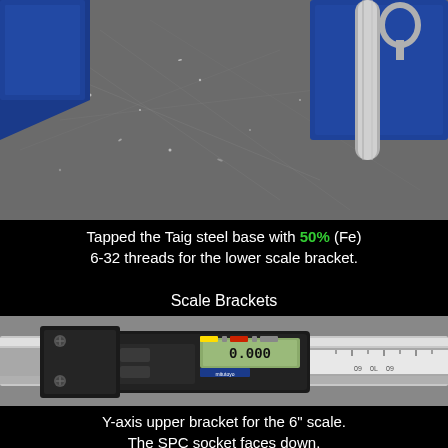[Figure (photo): Close-up photo of a Taig steel base on a metal surface with blue angled pieces and a metal rod/bolt. Metal surface shows scratches and metal chips. The photo shows machining work on the Taig lathe base.]
Tapped the Taig steel base with 50% (Fe) 6-32 threads for the lower scale bracket.
Scale Brackets
[Figure (photo): Photo of a digital caliper/scale (SPC type, stainless hardened) mounted in an aluminum bracket channel. The digital readout head is black with yellow, red and blue indicator lights and an LCD display. The scale reads 'STAINLESS HARDENED' along its side. The SPC socket is visible facing down.]
Y-axis upper bracket for the 6" scale. The SPC socket faces down.